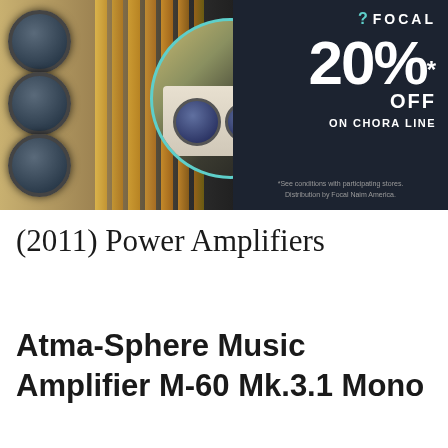[Figure (photo): Focal advertisement banner showing white floor-standing speakers and center channel speaker against wooden slats background, with dark panel showing 20% OFF on Chora Line promotion and Focal logo]
(2011) Power Amplifiers
Atma-Sphere Music Amplifier M-60 Mk.3.1 Mono